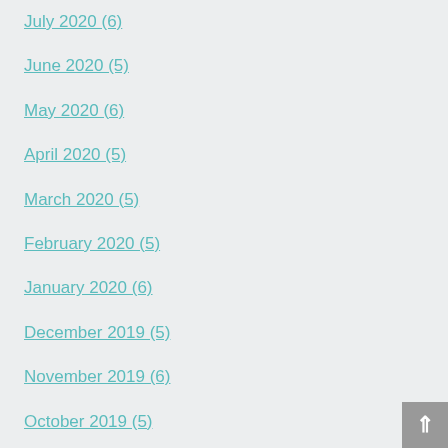July 2020 (6)
June 2020 (5)
May 2020 (6)
April 2020 (5)
March 2020 (5)
February 2020 (5)
January 2020 (6)
December 2019 (5)
November 2019 (6)
October 2019 (5)
September 2019 (5)
August 2019 (6)
July 2019 (5)